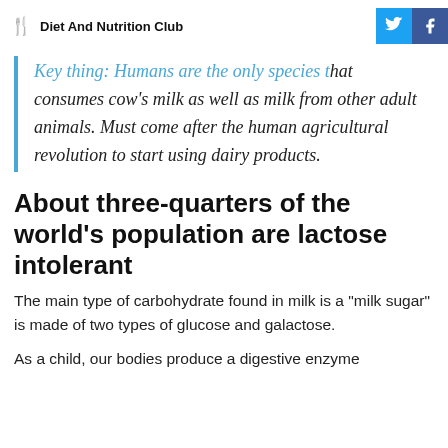Diet And Nutrition Club
Key thing: Humans are the only species that consumes cow's milk as well as milk from other adult animals. Must come after the human agricultural revolution to start using dairy products.
About three-quarters of the world's population are lactose intolerant
The main type of carbohydrate found in milk is a "milk sugar" is made of two types of glucose and galactose.
As a child, our bodies produce a digestive enzyme